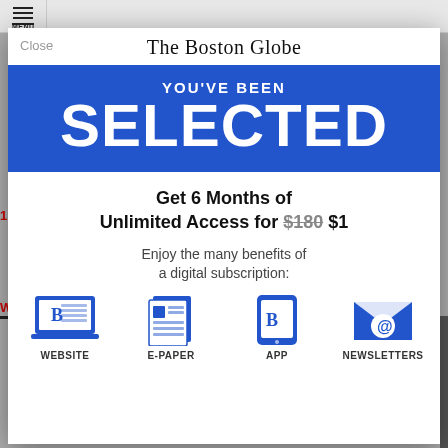[Figure (screenshot): Boston Globe subscription modal overlay on a news website. Shows 'YOU'VE BEEN SELECTED' in a blue banner, offer text 'Get 6 Months of Unlimited Access for $180 $1', icons for WEBSITE, E-PAPER, APP, NEWSLETTERS.]
The Boston Globe
YOU'VE BEEN
SELECTED
Get 6 Months of Unlimited Access for $180 $1
Enjoy the many benefits of a digital subscription:
WEBSITE
E-PAPER
APP
NEWSLETTERS